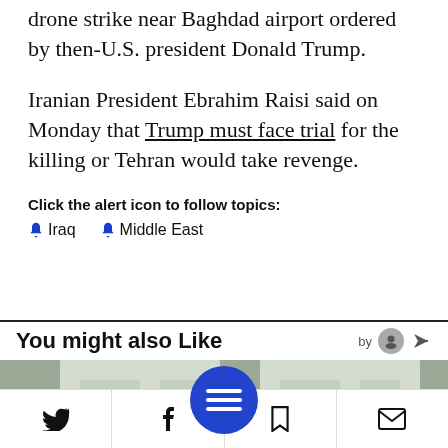drone strike near Baghdad airport ordered by then-U.S. president Donald Trump.
Iranian President Ebrahim Raisi said on Monday that Trump must face trial for the killing or Tehran would take revenge.
Click the alert icon to follow topics:
Iraq
Middle East
You might also Like
[Figure (photo): Two men (Donald Trump and Benjamin Netanyahu) standing side by side outdoors in front of a light-colored wall with windows.]